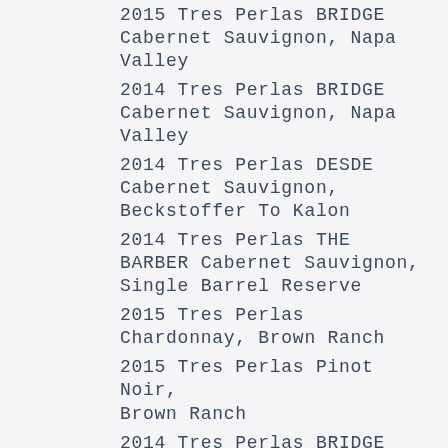2015 Tres Perlas BRIDGE Cabernet Sauvignon, Napa Valley
2014 Tres Perlas BRIDGE Cabernet Sauvignon, Napa Valley
2014 Tres Perlas DESDE Cabernet Sauvignon, Beckstoffer To Kalon
2014 Tres Perlas THE BARBER Cabernet Sauvignon, Single Barrel Reserve
2015 Tres Perlas Chardonnay, Brown Ranch
2015 Tres Perlas Pinot Noir, Brown Ranch
2014 Tres Perlas BRIDGE